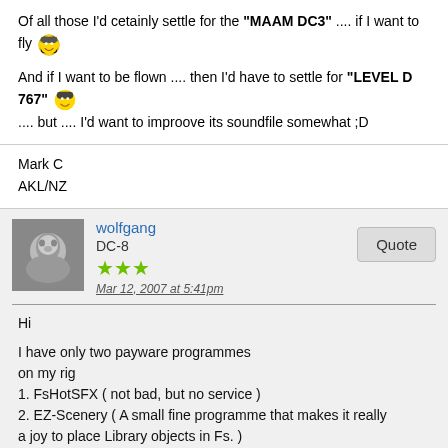Of all those I'd cetainly settle for the "MAAM DC3" .... if I want to fly 😎
And if I want to be flown .... then I'd have to settle for "LEVEL D 767" 😎 .... but .... I'd want to improove its soundfile somewhat ;D
Mark C
AKL/NZ
wolfgang
DC-8
★★★
Mar 12, 2007 at 5:41pm
Hi

I have only two payware programmes
on my rig
1. FsHotSFX ( not bad, but no service )
2. EZ-Scenery ( A small fine programme that makes it really a joy to place Library objects in Fs. )